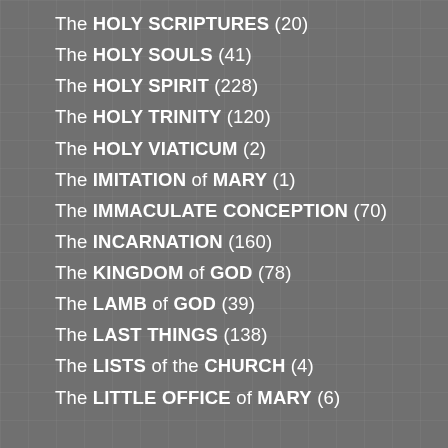The HOLY SCRIPTURES (20)
The HOLY SOULS (41)
The HOLY SPIRIT (228)
The HOLY TRINITY (120)
The HOLY VIATICUM (2)
The IMITATION of MARY (1)
The IMMACULATE CONCEPTION (70)
The INCARNATION (160)
The KINGDOM of GOD (78)
The LAMB of GOD (39)
The LAST THINGS (138)
The LISTS of the CHURCH (4)
The LITTLE OFFICE of MARY (6)